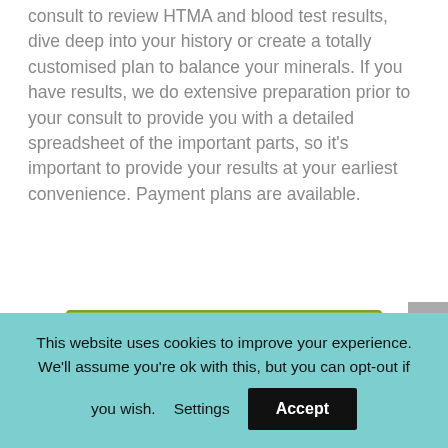consult to review HTMA and blood test results, dive deep into your history or create a totally customised plan to balance your minerals. If you have results, we do extensive preparation prior to your consult to provide you with a detailed spreadsheet of the important parts, so it's important to provide your results at your earliest convenience. Payment plans are available.
[Figure (other): Green 'Contact Kristan' button]
This website uses cookies to improve your experience. We'll assume you're ok with this, but you can opt-out if you wish.
Settings
Accept